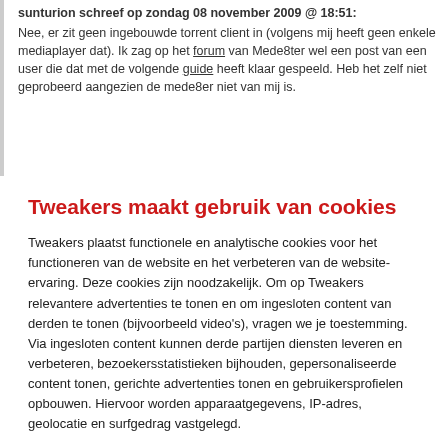sunturion schreef op zondag 08 november 2009 @ 18:51:
Nee, er zit geen ingebouwde torrent client in (volgens mij heeft geen enkele mediaplayer dat). Ik zag op het forum van Mede8ter wel een post van een user die dat met de volgende guide heeft klaar gespeeld. Heb het zelf niet geprobeerd aangezien de mede8er niet van mij is.
Tweakers maakt gebruik van cookies
Tweakers plaatst functionele en analytische cookies voor het functioneren van de website en het verbeteren van de website-ervaring. Deze cookies zijn noodzakelijk. Om op Tweakers relevantere advertenties te tonen en om ingesloten content van derden te tonen (bijvoorbeeld video's), vragen we je toestemming. Via ingesloten content kunnen derde partijen diensten leveren en verbeteren, bezoekersstatistieken bijhouden, gepersonaliseerde content tonen, gerichte advertenties tonen en gebruikersprofielen opbouwen. Hiervoor worden apparaatgegevens, IP-adres, geolocatie en surfgedrag vastgelegd.
Meer informatie vind je in ons cookiebeleid.
Alles accepteren
Alleen noodzakelijk
Voorkeuren aanpassen